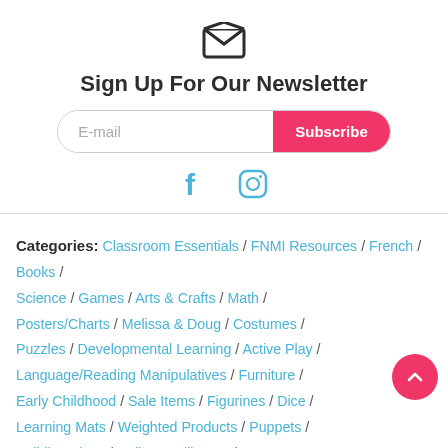[Figure (illustration): Open envelope mail icon]
Sign Up For Our Newsletter
[Figure (other): Email input field with Subscribe button]
[Figure (illustration): Facebook and Instagram social media icons]
Categories: Classroom Essentials / FNMI Resources / French / Books / Science / Games / Arts & Crafts / Math / Posters/Charts / Melissa & Doug / Costumes / Puzzles / Developmental Learning / Active Play / Language/Reading Manipulatives / Furniture / Early Childhood / Sale Items / Figurines / Dice / Learning Mats / Weighted Products / Puppets / Building Ideas / Dolls & Dollhouse /